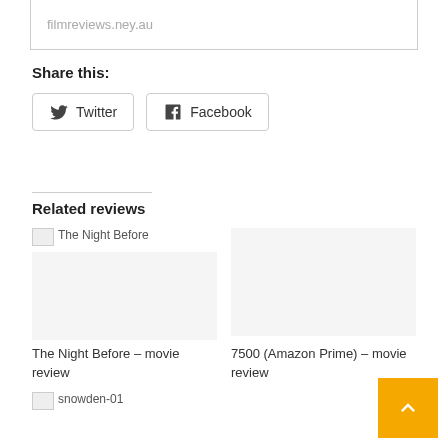filmreviews.ney.au
Share this:
[Figure (other): Twitter and Facebook social sharing buttons]
Related reviews
[Figure (other): Broken image placeholder labeled 'The Night Before']
The Night Before – movie review
7500 (Amazon Prime) – movie review
[Figure (other): Broken image placeholder labeled 'snowden-01']